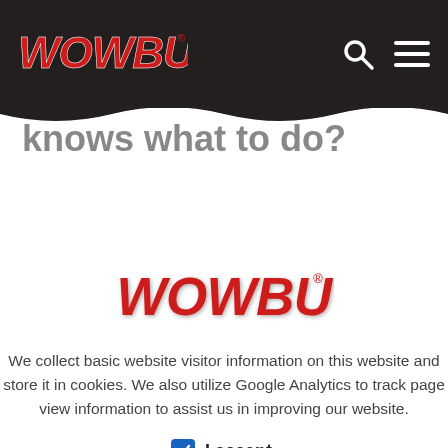WOWBUTTER (navigation bar with logo, search, and menu icons)
knows what to do?
[Figure (logo): WOWBUTTER red script logo with drop shadow, centered in cookie consent dialog]
We collect basic website visitor information on this website and store it in cookies. We also utilize Google Analytics to track page view information to assist us in improving our website.
I accept.
CONTINUE